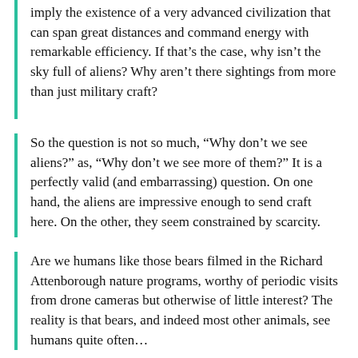imply the existence of a very advanced civilization that can span great distances and command energy with remarkable efficiency. If that’s the case, why isn’t the sky full of aliens? Why aren’t there sightings from more than just military craft?
So the question is not so much, “Why don’t we see aliens?” as, “Why don’t we see more of them?” It is a perfectly valid (and embarrassing) question. On one hand, the aliens are impressive enough to send craft here. On the other, they seem constrained by scarcity.
Are we humans like those bears filmed in the Richard Attenborough nature programs, worthy of periodic visits from drone cameras but otherwise of little interest? The reality is that bears, and indeed most other animals, see humans quite often…
3. The alien‑origin hypothesis relies too much on the “argument from elimination.”